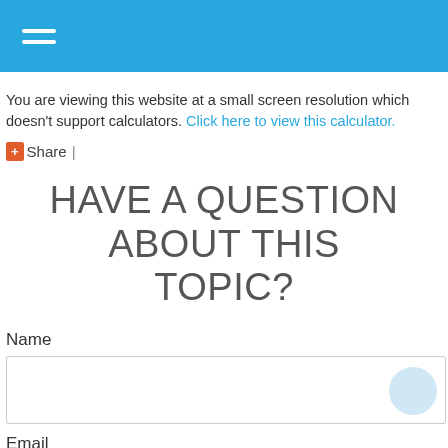Navigation header bar with hamburger menu icon
You are viewing this website at a small screen resolution which doesn't support calculators. Click here to view this calculator.
+ Share |
HAVE A QUESTION ABOUT THIS TOPIC?
Name
Email